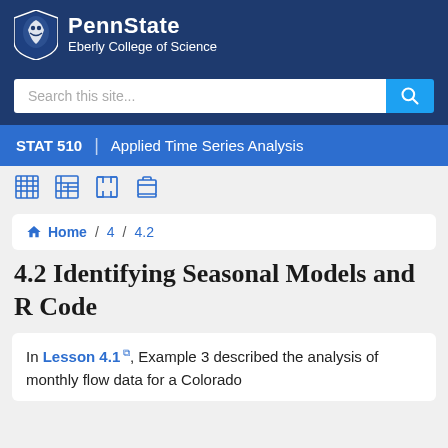PennState Eberly College of Science
Search this site...
STAT 510 | Applied Time Series Analysis
Home / 4 / 4.2
4.2 Identifying Seasonal Models and R Code
In Lesson 4.1, Example 3 described the analysis of monthly flow data for a Colorado